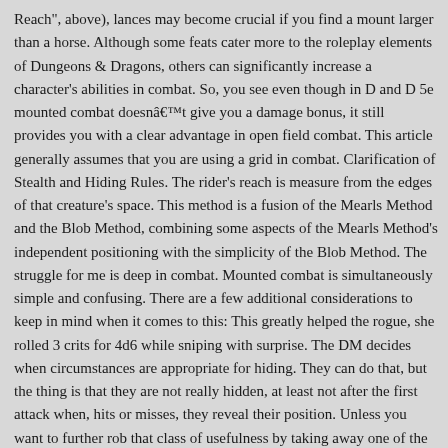Reach", above), lances may become crucial if you find a mount larger than a horse. Although some feats cater more to the roleplay elements of Dungeons & Dragons, others can significantly increase a character's abilities in combat. So, you see even though in D and D 5e mounted combat doesnât give you a damage bonus, it still provides you with a clear advantage in open field combat. This article generally assumes that you are using a grid in combat. Clarification of Stealth and Hiding Rules. The rider's reach is measure from the edges of that creature's space. This method is a fusion of the Mearls Method and the Blob Method, combining some aspects of the Mearls Method's independent positioning with the simplicity of the Blob Method. The struggle for me is deep in combat. Mounted combat is simultaneously simple and confusing. There are a few additional considerations to keep in mind when it comes to this: This greatly helped the rogue, she rolled 3 crits for 4d6 while sniping with surprise. The DM decides when circumstances are appropriate for hiding. They can do that, but the thing is that they are not really hidden, at least not after the first attack when, hits or misses, they reveal their position. Unless you want to further rob that class of usefulness by taking away one of the few things that make it special, youâll want to ensure your players are a little more rigorous when it comes to hiding âin plain sightâ (but itâs not really a good hiding place, is there?). St...